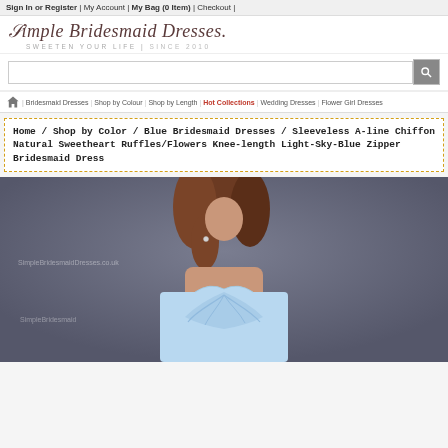Sign In or Register | My Account | My Bag (0 Item) | Checkout |
[Figure (logo): Simple Bridesmaid Dresses logo with script font and tagline SWEETEN YOUR LIFE | SINCE 2010]
[Figure (screenshot): Search input box with magnifying glass icon button]
Home icon | Bridesmaid Dresses | Shop by Colour | Shop by Length | Hot Collections | Wedding Dresses | Flower Girl Dresses
Home / Shop by Color / Blue Bridesmaid Dresses / Sleeveless A-line Chiffon Natural Sweetheart Ruffles/Flowers Knee-length Light-Sky-Blue Zipper Bridesmaid Dress
[Figure (photo): A model wearing a light sky blue strapless sweetheart chiffon bridesmaid dress, photographed against a grey background. The model has long brown wavy hair. The dress features ruching/ruffles at the bodice. Watermark text reads SimpleBridesmaidDresses.co.uk.]